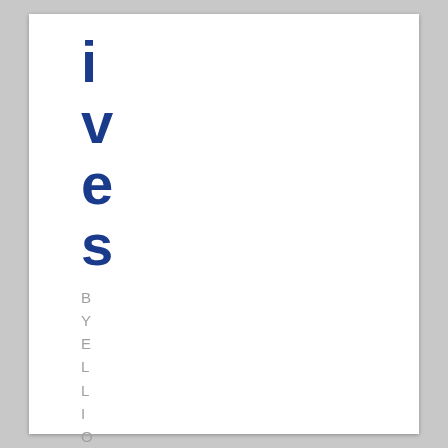ives
BY ELLIOT .ON JANUARY 2ND